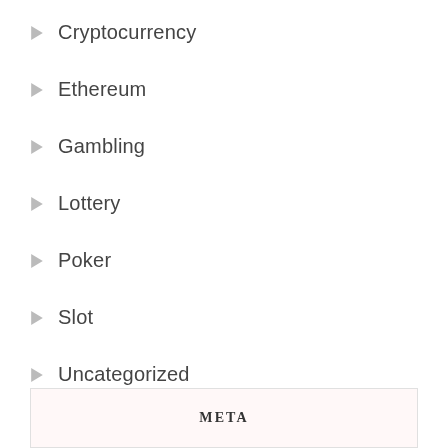Cryptocurrency
Ethereum
Gambling
Lottery
Poker
Slot
Uncategorized
Virtual Money
META